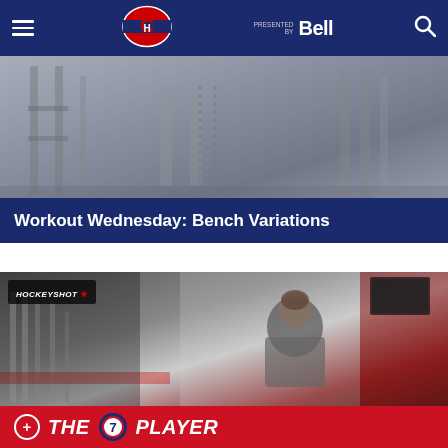Montreal Canadiens website navigation bar with hamburger menu, Canadiens logo, Bell (PRESENTED BY Bell) sponsor, and search icon
[Figure (photo): Dark gym / weight room background photo showing exercise equipment, racks, and chains in a dimly lit training facility]
Workout Wednesday: Bench Variations
[Figure (screenshot): Video thumbnail showing a young male athlete in a Canadiens grey t-shirt in a red and white gym facility. HockeyShot logo badge visible top-left.]
+ THE 7 PLAYER